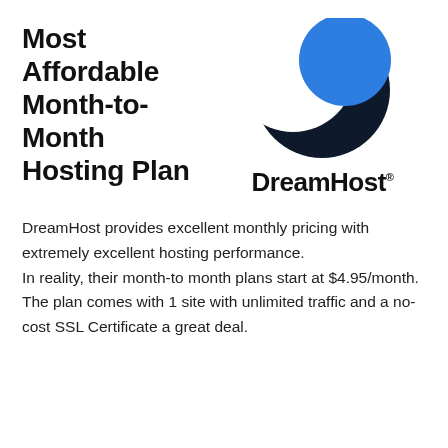Most Affordable Month-to-Month Hosting Plan
[Figure (logo): DreamHost logo: a dark navy crescent moon shape with a bright blue circle, and the text 'DreamHost' in bold black beneath it.]
DreamHost provides excellent monthly pricing with extremely excellent hosting performance.
In reality, their month-to month plans start at $4.95/month. The plan comes with 1 site with unlimited traffic and a no-cost SSL Certificate a great deal.